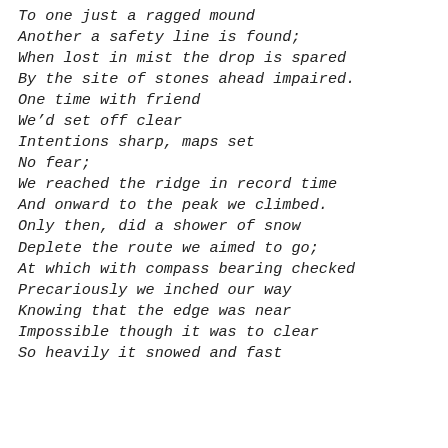To one just a ragged mound
Another a safety line is found;
When lost in mist the drop is spared
By the site of stones ahead impaired.
One time with friend
We’d set off clear
Intentions sharp, maps set
No fear;
We reached the ridge in record time
And onward to the peak we climbed.
Only then, did a shower of snow
Deplete the route we aimed to go;
At which with compass bearing checked
Precariously we inched our way
Knowing that the edge was near
Impossible though it was to clear
So heavily it snowed and fast